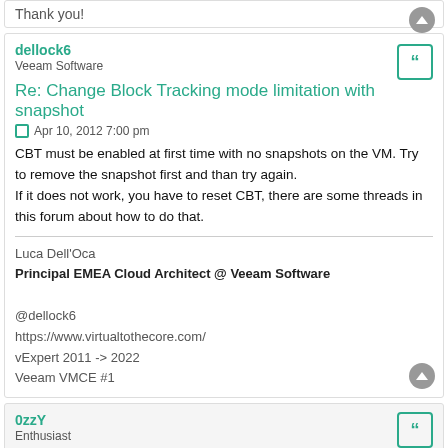Thank you!
dellock6
Veeam Software
Re: Change Block Tracking mode limitation with snapshot
Apr 10, 2012 7:00 pm
CBT must be enabled at first time with no snapshots on the VM. Try to remove the snapshot first and than try again.
If it does not work, you have to reset CBT, there are some threads in this forum about how to do that.
Luca Dell'Oca
Principal EMEA Cloud Architect @ Veeam Software

@dellock6
https://www.virtualtothecore.com/
vExpert 2011 -> 2022
Veeam VMCE #1
0zzY
Enthusiast
[MERGED] Snapshoot and "Changed block tracking.." error